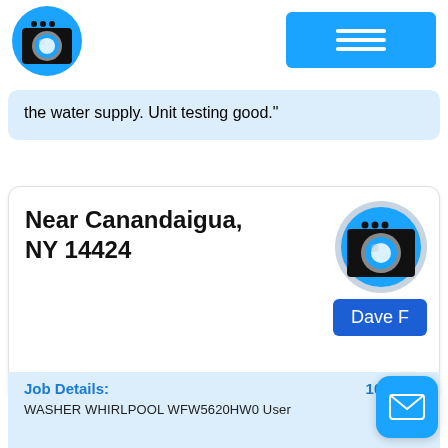[Figure (logo): Washing machine icon in a blue circle, used as app logo in header]
[Figure (screenshot): Blue hamburger menu button in header]
the water supply. Unit testing good."
Near Canandaigua, NY 14424
[Figure (logo): Washing machine icon in gray/blue circle, profile avatar]
Dave F
Job Details:
10/10/20
WASHER WHIRLPOOL WFW5620HW0 User
[Figure (screenshot): Blue mail/envelope FAB button in bottom right]